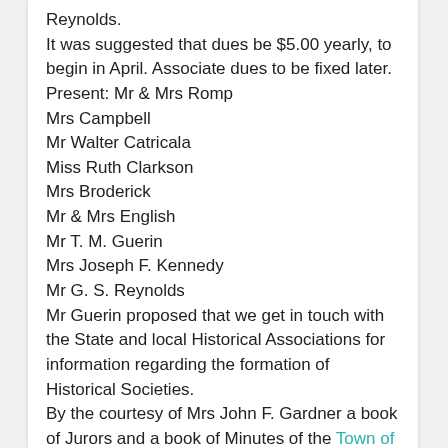Reynolds.
It was suggested that dues be $5.00 yearly, to begin in April. Associate dues to be fixed later.
Present: Mr & Mrs Romp
Mrs Campbell
Mr Walter Catricala
Miss Ruth Clarkson
Mrs Broderick
Mr & Mrs English
Mr T. M. Guerin
Mrs Joseph F. Kennedy
Mr G. S. Reynolds
Mr Guerin proposed that we get in touch with the State and local Historical Associations for information regarding the formation of Historical Societies.
By the courtesy of Mrs John F. Gardner a book of Jurors and a book of Minutes of the Town of